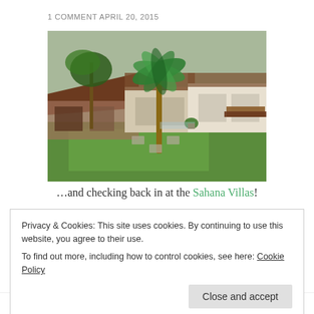1 COMMENT APRIL 20, 2015
[Figure (photo): Exterior view of Sahana Villas in Bali — a tropical villa with tiled roofs, palm trees, manicured lawn, and open-plan living area.]
…and checking back in at the Sahana Villas!
Privacy & Cookies: This site uses cookies. By continuing to use this website, you agree to their use.
To find out more, including how to control cookies, see here: Cookie Policy
Close and accept
cooking staff. Bali is incredibly affordable,